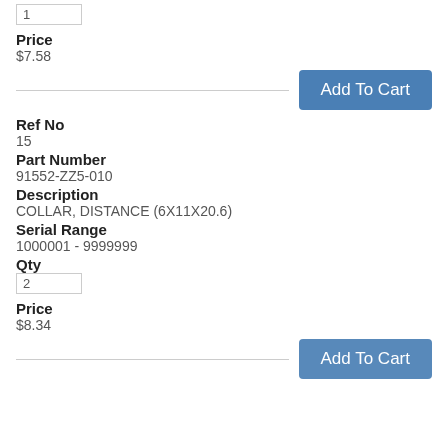1
Price
$7.58
Add To Cart
Ref No
15
Part Number
91552-ZZ5-010
Description
COLLAR, DISTANCE (6X11X20.6)
Serial Range
1000001 - 9999999
Qty
2
Price
$8.34
Add To Cart